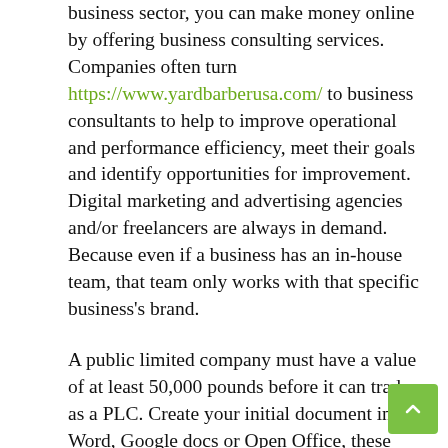business sector, you can make money online by offering business consulting services. Companies often turn https://www.yardbarberusa.com/ to business consultants to help to improve operational and performance efficiency, meet their goals and identify opportunities for improvement. Digital marketing and advertising agencies and/or freelancers are always in demand. Because even if a business has an in-house team, that team only works with that specific business's brand.
A public limited company must have a value of at least 50,000 pounds before it can trade as a PLC. Create your initial document in Word, Google docs or Open Office, these tools are easy to use and you'll end up with an easily editable file. You can also use Excel to create and update